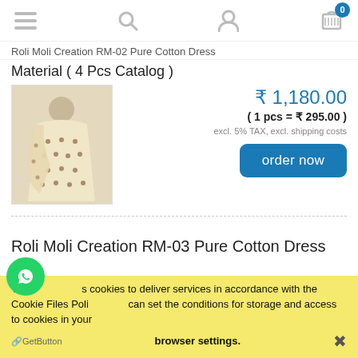Navigation bar with menu, search, account, and cart (0 items) icons
Roli Moli Creation RM-02 Pure Cotton Dress
Material ( 4 Pcs Catalog )
[Figure (photo): Product photo of a cream/beige embroidered pure cotton dress on a mannequin]
₹ 1,180.00
( 1 pcs = ₹ 295.00 )
excl. 5% TAX, excl. shipping costs
order now
Roli Moli Creation RM-03 Pure Cotton Dress
This site uses cookies to deliver services in accordance with the Cookie Files Policy. You can set the conditions for storage and access to cookies in your browser settings.